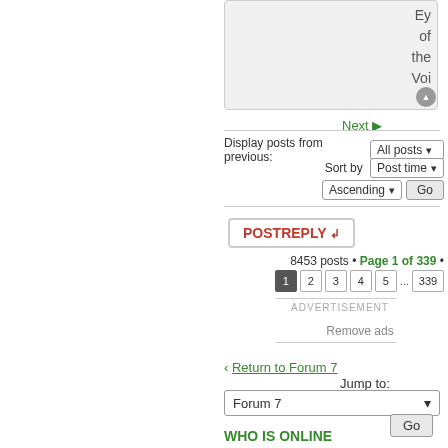[Figure (screenshot): Partially visible forum post content box with text 'Eye of the Voi' visible, with a scroll-up icon]
Next ▶
Display posts from previous: All posts ▾
Sort by Post time ▾
Ascending ▾  Go
POSTREPLY ↲
8453 posts • Page 1 of 339 •
1  2  3  4  5  ...  339
ADVERTISEMENT
Remove ads
‹ Return to Forum 7
Jump to:
Forum 7
Go
WHO IS ONLINE
Users browsing this forum: Azania-, Diarcesia, Free Ravensburg, Kahekordne